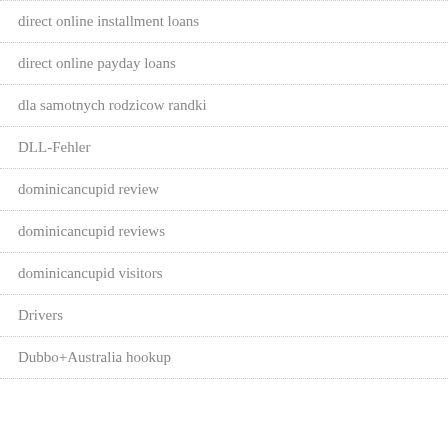direct online installment loans
direct online payday loans
dla samotnych rodzicow randki
DLL-Fehler
dominicancupid review
dominicancupid reviews
dominicancupid visitors
Drivers
Dubbo+Australia hookup